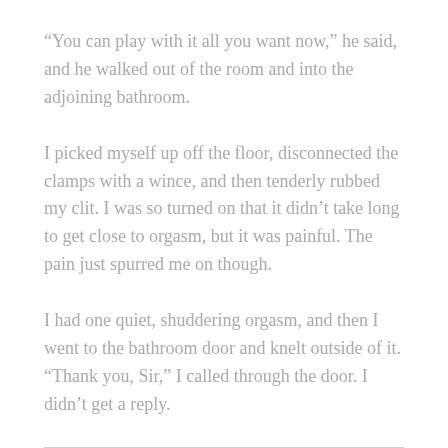“You can play with it all you want now,” he said, and he walked out of the room and into the adjoining bathroom.
I picked myself up off the floor, disconnected the clamps with a wince, and then tenderly rubbed my clit. I was so turned on that it didn’t take long to get close to orgasm, but it was painful. The pain just spurred me on though.
I had one quiet, shuddering orgasm, and then I went to the bathroom door and knelt outside of it. “Thank you, Sir,” I called through the door. I didn’t get a reply.
Thanks for checking out my blog. Don’t forget to